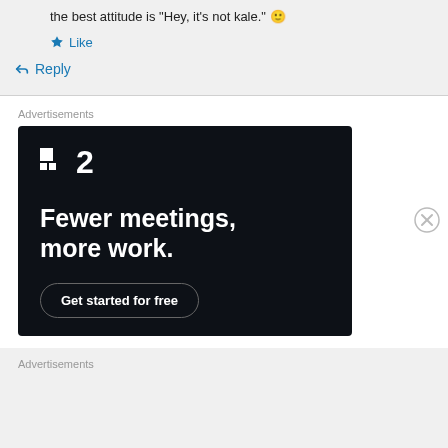the best attitude is "Hey, it's not kale." 🙂
★ Like
↪ Reply
Advertisements
[Figure (infographic): Dark advertisement banner for a productivity tool showing a logo with two small squares and the number 2, headline text 'Fewer meetings, more work.' and a CTA button 'Get started for free']
Advertisements
REPORT THIS AD